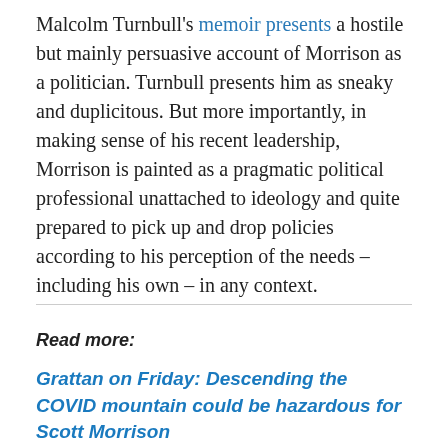Malcolm Turnbull's memoir presents a hostile but mainly persuasive account of Morrison as a politician. Turnbull presents him as sneaky and duplicitous. But more importantly, in making sense of his recent leadership, Morrison is painted as a pragmatic political professional unattached to ideology and quite prepared to pick up and drop policies according to his perception of the needs – including his own – in any context.
Read more:
Grattan on Friday: Descending the COVID mountain could be hazardous for Scott Morrison